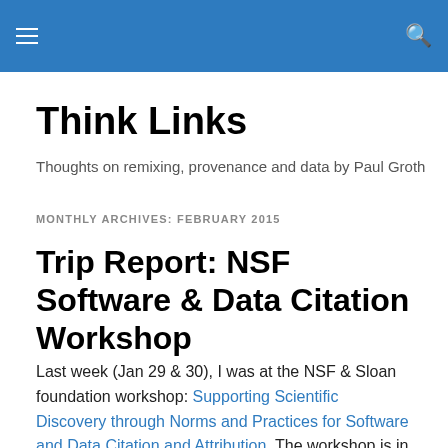Think Links — navigation header with hamburger menu and search icon
Think Links
Thoughts on remixing, provenance and data by Paul Groth
MONTHLY ARCHIVES: FEBRUARY 2015
Trip Report: NSF Software & Data Citation Workshop
Last week (Jan 29 & 30), I was at the NSF & Sloan foundation workshop: Supporting Scientific Discovery through Norms and Practices for Software and Data Citation and Attribution. The workshop is in the context of the NSF's dear colleague letter on the subject. The